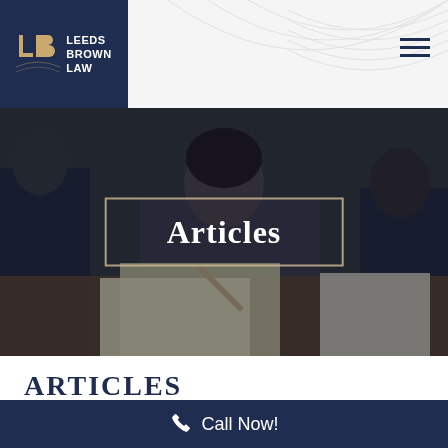[Figure (logo): Leeds Brown Law logo — LB monogram in gold/white on dark navy background with text LEEDS BROWN LAW]
[Figure (photo): Background photo of legal professionals reviewing documents at a table, dark overlay applied]
Articles
ARTICLES
Call Now!